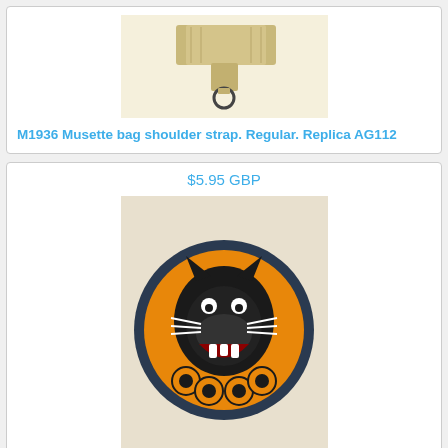[Figure (photo): M1936 Musette bag shoulder strap, tan/khaki colored strap with metal ring, on white background]
M1936 Musette bag shoulder strap. Regular. Replica AG112
$5.95 GBP
[Figure (photo): WWII American U.S. Army Tank Destroyer cloth sleeve patch badge with raw edge — circular patch with orange background featuring a black panther head with open mouth showing teeth, surrounded by tank wheels/gears, with dark navy border]
WWII American U.S. Army TANK DESTROYER cloth sleeve patch badge with raw edge